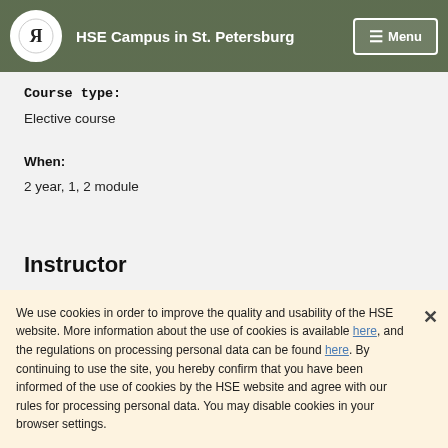HSE Campus in St. Petersburg | Menu
Course type:
Elective course
When:
2 year, 1, 2 module
Instructor
[Figure (photo): Circular portrait photo of an instructor, partially visible]
We use cookies in order to improve the quality and usability of the HSE website. More information about the use of cookies is available here, and the regulations on processing personal data can be found here. By continuing to use the site, you hereby confirm that you have been informed of the use of cookies by the HSE website and agree with our rules for processing personal data. You may disable cookies in your browser settings.